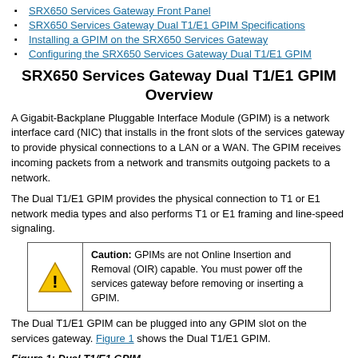SRX650 Services Gateway Front Panel
SRX650 Services Gateway Dual T1/E1 GPIM Specifications
Installing a GPIM on the SRX650 Services Gateway
Configuring the SRX650 Services Gateway Dual T1/E1 GPIM
SRX650 Services Gateway Dual T1/E1 GPIM Overview
A Gigabit-Backplane Pluggable Interface Module (GPIM) is a network interface card (NIC) that installs in the front slots of the services gateway to provide physical connections to a LAN or a WAN. The GPIM receives incoming packets from a network and transmits outgoing packets to a network.
The Dual T1/E1 GPIM provides the physical connection to T1 or E1 network media types and also performs T1 or E1 framing and line-speed signaling.
[Figure (infographic): Caution box with yellow warning triangle icon and text: Caution: GPIMs are not Online Insertion and Removal (OIR) capable. You must power off the services gateway before removing or inserting a GPIM.]
The Dual T1/E1 GPIM can be plugged into any GPIM slot on the services gateway. Figure 1 shows the Dual T1/E1 GPIM.
Figure 1: Dual T1/E1 GPIM